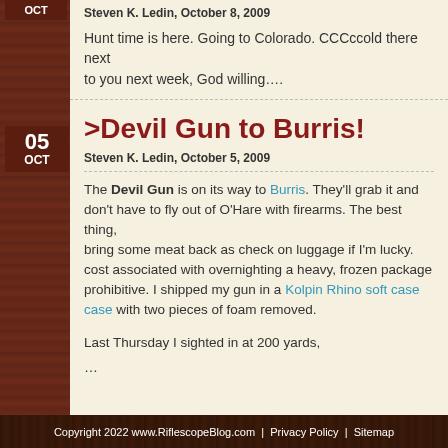Steven K. Ledin, October 8, 2009
Hunt time is here. Going to Colorado. CCCccold there next week, God willing....
>Devil Gun to Burris!
Steven K. Ledin, October 5, 2009
The Devil Gun is on its way to Burris. They'll grab it and don't have to fly out of O'Hare with firearms. The best thing, bring some meat back as check on luggage if I'm lucky. The cost associated with overnighting a heavy, frozen package is prohibitive. I shipped my gun in a Kolpin Rhino soft case case with two pieces of foam removed.

Last Thursday I sighted in at 200 yards,
...
Copyright 2022 www.RiflescopeBlog.com  |  Privacy Policy  |  Sitemap